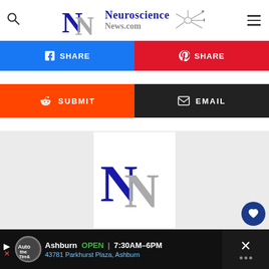Neuroscience News.com
[Figure (screenshot): Social sharing buttons: Facebook Share button (blue), Pinterest button (red), Reddit Submit button (orange), Email button (dark/black)]
[Figure (logo): Neuroscience News logo - NN monogram in blue and gray with author name 'Neuroscience News' and external link icon]
[Figure (infographic): Advertisement bar at bottom: The Tire & Auto logo, Ashburn OPEN 7:30AM-6PM, 43781 Parkhurst Plaza Ashburn, navigation icon, close button]